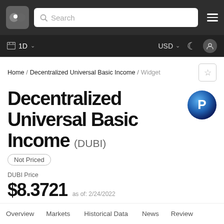Search | 1D | USD
Home / Decentralized Universal Basic Income / Widget
Decentralized Universal Basic Income (DUBI)
Not Priced
DUBI Price
$8.3721 as of: 2/24/2022
Overview   Markets   Historical Data   News   Review